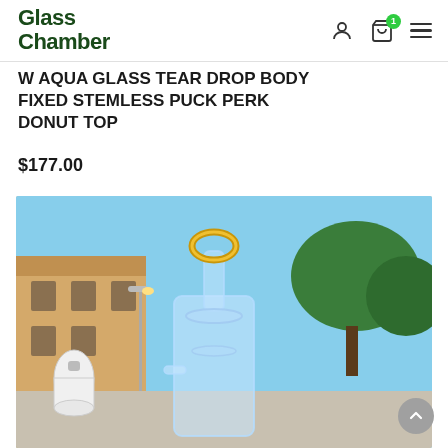Glass Chamber — navigation header with logo, user icon, cart (1 item), and hamburger menu
W AQUA GLASS TEAR DROP BODY FIXED STEMLESS PUCK PERK DONUT TOP
$177.00
[Figure (photo): Photo of a clear glass water pipe / bong with gold-rimmed donut top mouthpiece, placed outdoors on a concrete surface with a building and trees in the background.]